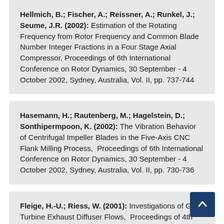Hellmich, B.; Fischer, A.; Reissner, A.; Runkel, J.; Seume, J.R. (2002): Estimation of the Rotating Frequency from Rotor Frequency and Common Blade Number Integer Fractions in a Four Stage Axial Compressor, Proceedings of 6th International Conference on Rotor Dynamics, 30 September - 4 October 2002, Sydney, Australia, Vol. II, pp. 737-744
Hasemann, H.; Rautenberg, M.; Hagelstein, D.; Sonthipermpoon, K. (2002): The Vibration Behavior of Centrifugal Impeller Blades in the Five-Axis CNC Flank Milling Process, Proceedings of 6th International Conference on Rotor Dynamics, 30 September - 4 October 2002, Sydney, Australia, Vol. II, pp. 730-736
Fleige, H.-U.; Riess, W. (2001): Investigations of Gas Turbine Exhaust Diffuser Flows, Proceedings of 4th European Conference on Turbomachinery (ETC), 20-23